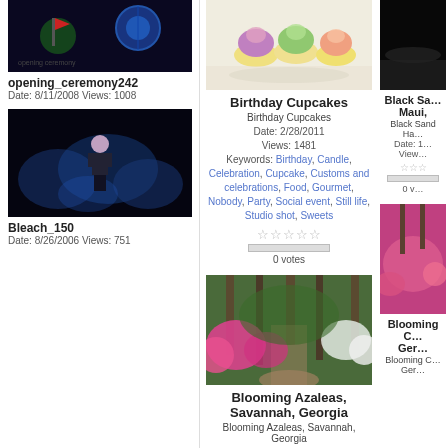[Figure (photo): Opening ceremony photo - dark background with globe and red flag]
opening_ceremony242
Date: 8/11/2008 Views: 1008
[Figure (photo): Bleach_150 - anime character with blue smoke/energy effect]
Bleach_150
Date: 8/26/2006 Views: 751
[Figure (photo): Birthday cupcakes with colorful frosting]
Birthday Cupcakes
Birthday Cupcakes
Date: 2/28/2011
Views: 1481
Keywords: Birthday, Candle, Celebration, Cupcake, Customs and celebrations, Food, Gourmet, Nobody, Party, Social event, Still life, Studio shot, Sweets
[Figure (photo): Black Sand beach, Maui]
Black Sa... Maui,
Black Sand Ha...
Date: 1... Views:...
[Figure (photo): Blooming Azaleas in Savannah, Georgia - pink flowers in forest]
Blooming Azaleas, Savannah, Georgia
Blooming Azaleas, Savannah, Georgia
[Figure (photo): Blooming flowers Germany]
Blooming C... Ger...